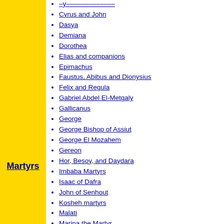Martyrs
Cyrus and John
Dasya
Demiana
Dorothea
Elias and companions
Epimachus
Faustus, Abibus and Dionysius
Felix and Regula
Gabriel Abdel El-Metgaly
Gallicanus
George
George Bishop of Assiut
George El Mozahem
Gereon
Hor, Besoy, and Daydara
Imbaba Martyrs
Isaac of Dafra
John of Senhout
Kosheh martyrs
Malati
Marina the Martyr
Maspero Martyrs
Maurice
Memnon